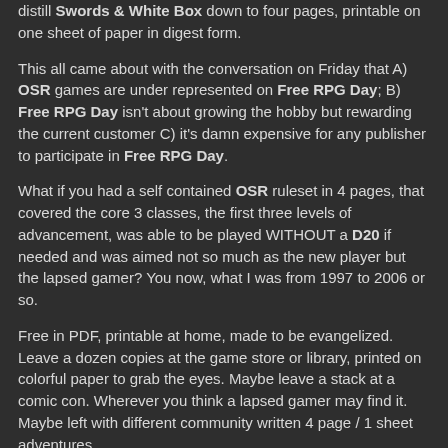distill Swords & White Box down to four pages, printable on one sheet of paper in digest form.
This all came about with the conversation on Friday that A) OSR games are under represented on Free RPG Day; B) Free RPG Day isn't about growing the hobby but rewarding the current customer C) it's damn expensive for any publisher to participate in Free RPG Day.
What if you had a self contained OSR ruleset in 4 pages, that covered the core 3 classes, the first three levels of advancement, was able to be played WITHOUT a D20 if needed and was aimed not so much as the new player but the lapsed gamer? You now, what I was from 1997 to 2006 or so.
Free in PDF, printable at home, made to be evangelized. Leave a dozen copies at the game store or library, printed on colorful paper to grab the eyes. Maybe leave a stack at a comic con. Wherever you think a lapsed gamer may find it. Maybe left with different community written 4 page / 1 sheet adventures.